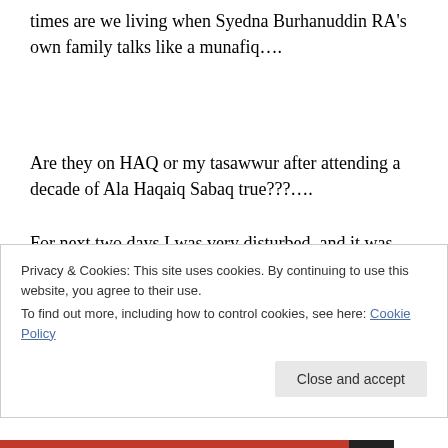times are we living when Syedna Burhanuddin RA's own family talks like a munafiq….
Are they on HAQ or my tasawwur after attending a decade of Ala Haqaiq Sabaq true???….
For next two days I was very disturbed..and it was Shehrullah..I was beseeching the Almighty to show me Haq.
Privacy & Cookies: This site uses cookies. By continuing to use this website, you agree to their use.
To find out more, including how to control cookies, see here: Cookie Policy
Close and accept